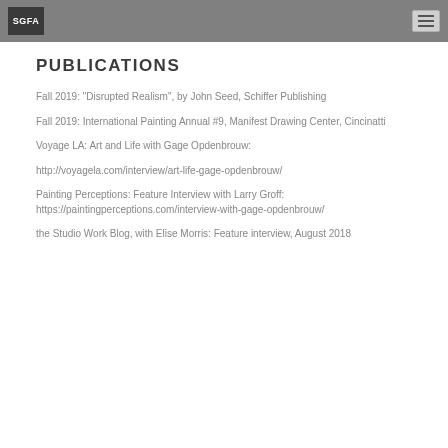SGFA
PUBLICATIONS
Fall 2019:  "Disrupted Realism", by John Seed, Schiffer Publishing
Fall 2019:  International Painting Annual #9,  Manifest Drawing Center,  Cincinatti
Voyage LA:  Art and Life with Gage Opdenbrouw:
http://voyagela.com/interview/art-life-gage-opdenbrouw/
Painting Perceptions:  Feature Interview with Larry Groff: https://paintingperceptions.com/interview-with-gage-opdenbrouw/
the Studio Work Blog, with Elise Morris:  Feature interview, August 2018